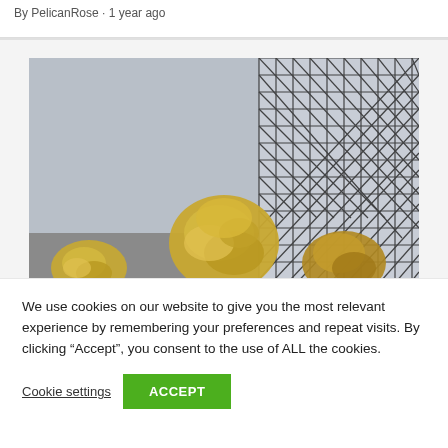By PelicanRose · 1 year ago
[Figure (photo): Three crumpled yellow paper balls on a gray surface, with a wire mesh trash basket on the right containing another crumpled yellow paper ball.]
We use cookies on our website to give you the most relevant experience by remembering your preferences and repeat visits. By clicking “Accept”, you consent to the use of ALL the cookies.
Cookie settings
ACCEPT